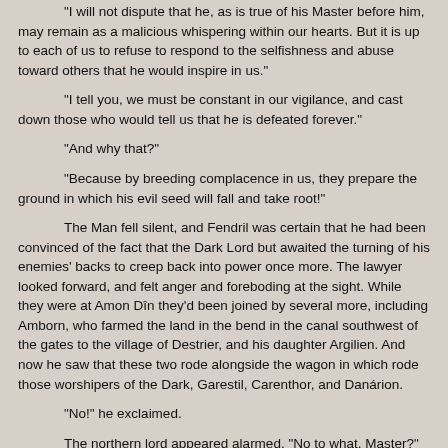“I will not dispute that he, as is true of his Master before him, may remain as a malicious whispering within our hearts.  But it is up to each of us to refuse to respond to the selfishness and abuse toward others that he would inspire in us.”
“I tell you, we must be constant in our vigilance, and cast down those who would tell us that he is defeated forever.”
“And why that?”
“Because by breeding complacence in us, they prepare the ground in which his evil seed will fall and take root!”
The Man fell silent, and Fendril was certain that he had been convinced of the fact that the Dark Lord but awaited the turning of his enemies’ backs to creep back into power once more.  The lawyer looked forward, and felt anger and foreboding at the sight.  While they were at Amon Dīn they’d been joined by several more, including Amborn, who farmed the land in the bend in the canal southwest of the gates to the village of Destrier, and his daughter Argilien.  And now he saw that these two rode alongside the wagon in which rode those worshipers of the Dark, Garestil, Carenthor, and Danárion.
“No!” he exclaimed.
The northern lord appeared alarmed.  “No to what, Master?” he asked.
“He will befoul her spirit, that Danárion!  She must be told to